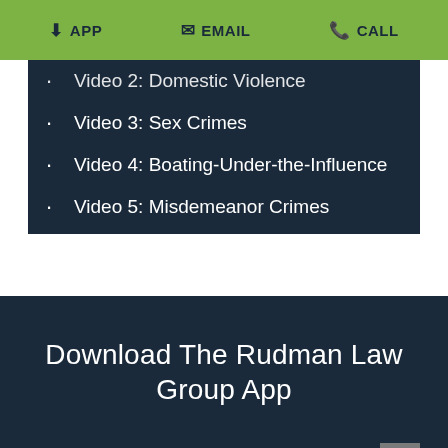APP   EMAIL   CALL
Video 2: Domestic Violence
Video 3: Sex Crimes
Video 4: Boating-Under-the-Influence
Video 5: Misdemeanor Crimes
Video 6: Protecting your DNA
Download The Rudman Law Group App